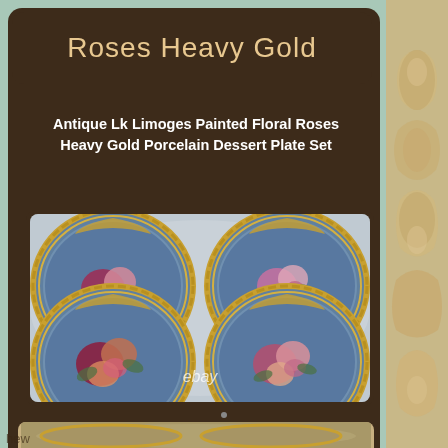Roses Heavy Gold
Antique Lk Limoges Painted Floral Roses Heavy Gold Porcelain Dessert Plate Set
[Figure (photo): Four antique Limoges-style porcelain dessert plates with painted floral roses and heavy gold trim arranged in a 2x2 grid on a white lace cloth. An eBay watermark is visible in the center-bottom of the image.]
[Figure (photo): Partial view of another antique plate at the bottom of the page.]